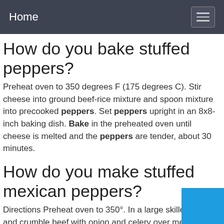Home
How do you bake stuffed peppers?
Preheat oven to 350 degrees F (175 degrees C). Stir cheese into ground beef-rice mixture and spoon mixture into precooked peppers. Set peppers upright in an 8x8-inch baking dish. Bake in the preheated oven until cheese is melted and the peppers are tender, about 30 minutes.
How do you make stuffed mexican peppers?
Directions Preheat oven to 350°. In a large skillet, cook and crumble beef with onion and celery over medium-high heat until no longer pink, 5-7 minutes. Cut off and discard tops from peppers; remove seeds. Fill peppers with beef mixture. covered, until peppers are tender and filling is heated through,